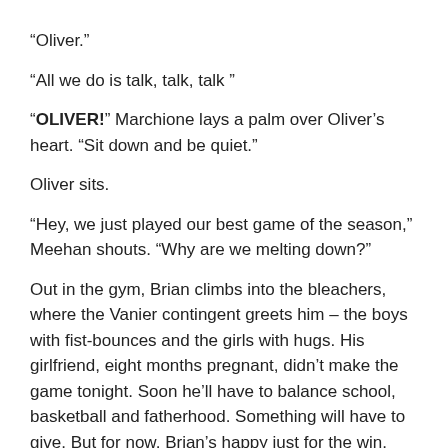“Oliver.”
“All we do is talk, talk, talk”
“OLIVER!” Marchione lays a palm over Oliver’s heart. “Sit down and be quiet.”
Oliver sits.
“Hey, we just played our best game of the season,” Meehan shouts. “Why are we melting down?”
Out in the gym, Brian climbs into the bleachers, where the Vanier contingent greets him – the boys with fist-bounces and the girls with hugs. His girlfriend, eight months pregnant, didn’t make the game tonight. Soon he’ll have to balance school, basketball and fatherhood. Something will have to give. But for now, Brian’s happy just for the win.